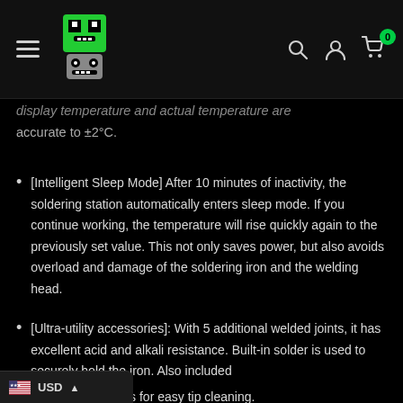Navigation bar with hamburger menu, logo, search, account, and cart (0 items) icons
display temperature and actual temperature are accurate to ±2°C.
[Intelligent Sleep Mode] After 10 minutes of inactivity, the soldering station automatically enters sleep mode. If you continue working, the temperature will rise quickly again to the previously set value. This not only saves power, but also avoids overload and damage of the soldering iron and the welding head.
[Ultra-utility accessories]: With 5 additional welded joints, it has excellent acid and alkali resistance. Built-in solder is used to securely hold the iron. Also included ...nges and tip cleaners for easy tip cleaning.